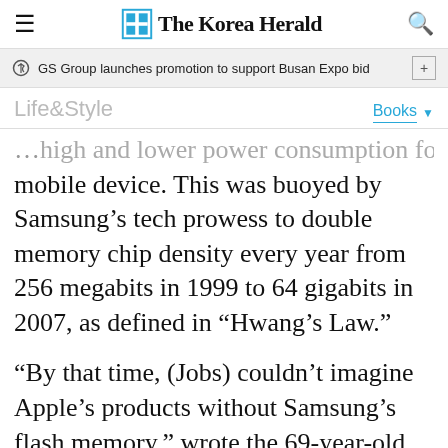The Korea Herald
GS Group launches promotion to support Busan Expo bid
Life&Style
Books
…high and lower power consumption for a mobile device. This was buoyed by Samsung's tech prowess to double memory chip density every year from 256 megabits in 1999 to 64 gigabits in 2007, as defined in “Hwang’s Law.”
“By that time, (Jobs) couldn’t imagine Apple’s products without Samsung’s flash memory,” wrote the 69-year-old Hwang in his memoir, “Encounters with Great Minds: A story of the…